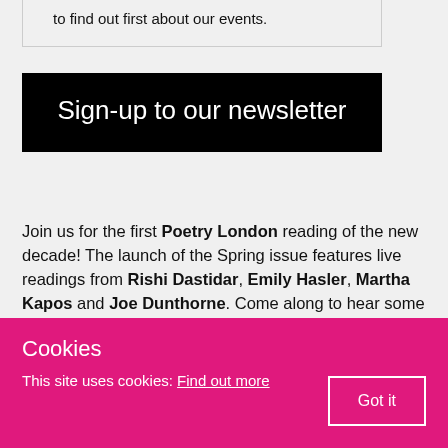to find out first about our events.
Sign-up to our newsletter
Join us for the first Poetry London reading of the new decade! The launch of the Spring issue features live readings from Rishi Dastidar, Emily Hasler, Martha Kapos and Joe Dunthorne. Come along to hear some of the magazine's most distinguished contributors reading their poems.
Cookies
This site uses cookies: Find out more
Got it